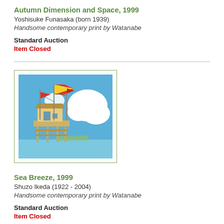Autumn Dimension and Space, 1999
Yoshisuke Funasaka (born 1939)
Handsome contemporary print by Watanabe
Standard Auction
Item Closed
[Figure (photo): Artwork showing a waterside structure on stilts with colorful flags against a blue sky with white clouds]
Sea Breeze, 1999
Shuzo Ikeda (1922 - 2004)
Handsome contemporary print by Watanabe
Standard Auction
Item Closed